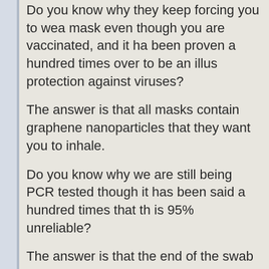Do you know why they keep forcing you to wear a mask even though you are vaccinated, and it has been proven a hundred times over to be an illusory protection against viruses?
The answer is that all masks contain graphene nanoparticles that they want you to inhale.
Do you know why we are still being PCR tested even though it has been said a hundred times that the test is 95% unreliable?
The answer is that the end of the swab is loaded with graphene nanoparticle oxide that goes directly into the brain.
Do you really know why they want to vaccinate everyone?
Because the (supposedly) mRNA vaccines are crammed with graphene oxide nanoparticles th...